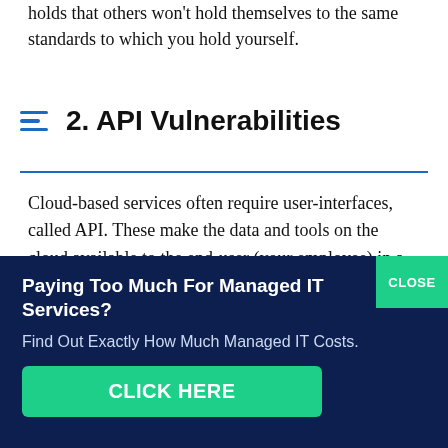holds that others won't hold themselves to the same standards to which you hold yourself.
2. API Vulnerabilities
Cloud-based services often require user-interfaces, called API. These make the data and tools on the cloud available to the end-user (your employee) in a useful way. But it doesn't take advanced tools for someone to identify the URL for each API as well as
Paying Too Much For Managed IT Services?
Find Out Exactly How Much Managed IT Costs.
CLICK HERE